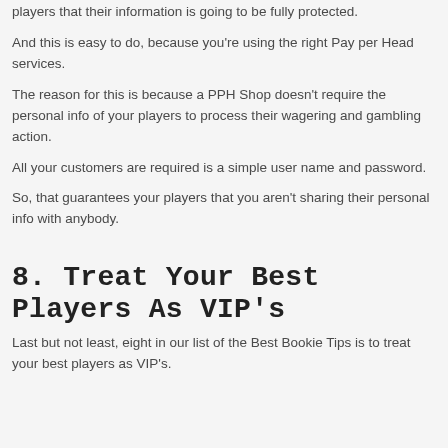players that their information is going to be fully protected.
And this is easy to do, because you're using the right Pay per Head services.
The reason for this is because a PPH Shop doesn't require the personal info of your players to process their wagering and gambling action.
All your customers are required is a simple user name and password.
So, that guarantees your players that you aren't sharing their personal info with anybody.
8. Treat your best players as VIP's
Last but not least, eight in our list of the Best Bookie Tips is to treat your best players as VIP's.